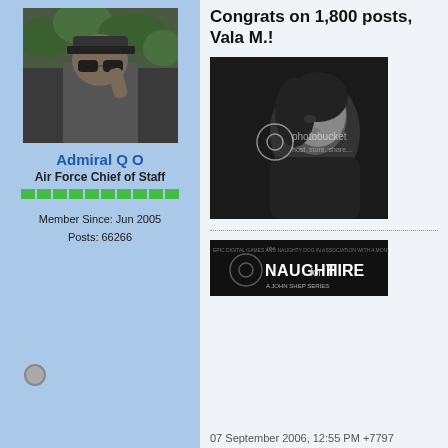[Figure (photo): Avatar photo of a man wearing a cap and sunglasses, in a military/outdoor setting]
Admiral Q O
Air Force Chief of Staff
Member Since: Jun 2005
Posts: 66266
Congrats on 1,800 posts, Vala M.!
[Figure (photo): Black and white photo of a woman looking upward, with Photobucket watermark]
[Figure (photo): Movie poster style banner reading 'NAUGHT for HIRE - A JOHN SHEP SERIES', with Photobucket watermark]
07 September 2006, 12:55 PM +7797